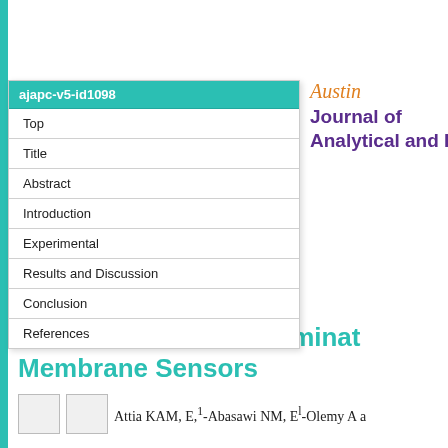[Figure (screenshot): Navigation menu panel with teal header 'ajapc-v5-id1098' and items: Top, Title, Abstract, Introduction, Experimental, Results and Discussion, Conclusion, References]
[Figure (logo): Austin Journal of Analytical and Pharmaceutical Chemistry journal logo with italic orange 'Austin' text and purple bold journal title]
Research Article
Austin J Anal Pharm Chem. 2018; 5(1): 1098.
Electrochemical Determination Membrane Sensors
Attia KAM, E,1-Abasawi NM, El-Olemy A a